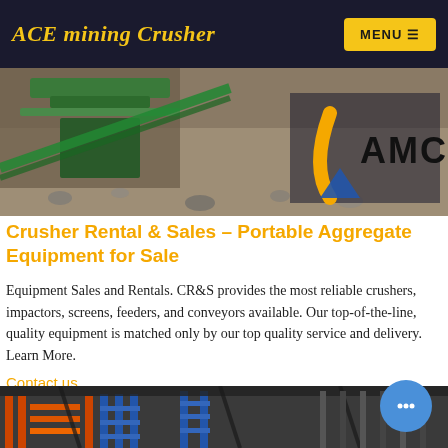ACE mining Crusher | MENU
[Figure (photo): Mining crusher machinery operating on a gravel/aggregate site with the AMC logo (orange and blue) visible on the right side of the banner image.]
Crusher Rental & Sales – Portable Aggregate Equipment for Sale
Equipment Sales and Rentals. CR&S provides the most reliable crushers, impactors, screens, feeders, and conveyors available. Our top-of-the-line, quality equipment is matched only by our top quality service and delivery. Learn More.
Contact us
[Figure (photo): Interior of an industrial warehouse with orange and blue metal shelving racks, taken from below, with dark structural beams visible overhead.]